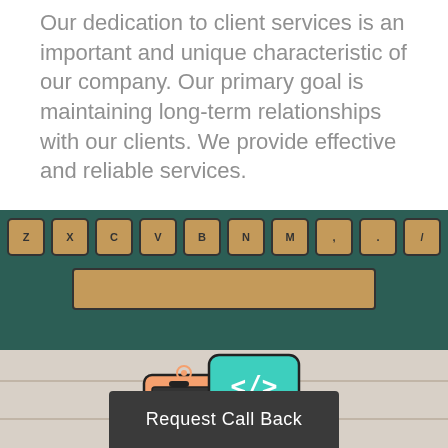Our dedication to client services is an important and unique characteristic of our company. Our primary goal is maintaining long-term relationships with our clients. We provide effective and reliable services.
[Figure (photo): Close-up photo of a vintage teal/green typewriter showing the bottom row of keys (Z, X, C, V, B, N, M and punctuation) with tan/brown colored keys and a long spacebar]
[Figure (illustration): Illustration on wood-grain background showing a smartphone with an app interface, a speech bubble with code symbol </>, and a document with text lines, representing web/app development services]
Request Call Back